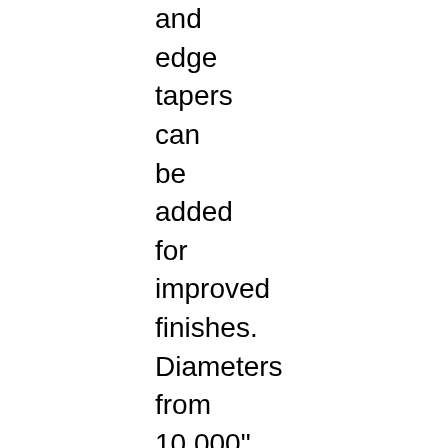and edge tapers can be added for improved finishes. Diameters from 10.000" to 20.000" and rim widths from 0.250" to 1.500" are available. 2A2T wheels can